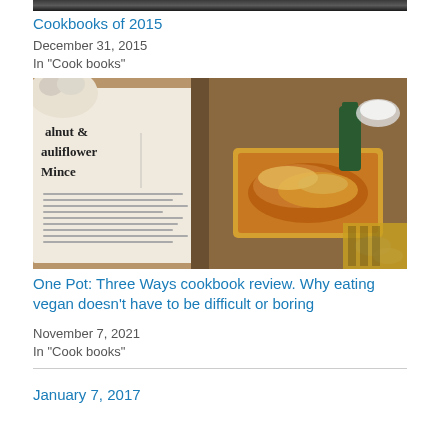[Figure (photo): Top portion of a dark cookbook/book image, cropped at top]
Cookbooks of 2015
December 31, 2015
In "Cook books"
[Figure (photo): Open cookbook showing a page with 'Walnut & Cauliflower Mince' recipe on the left and a baked dish in a casserole pan on the right]
One Pot: Three Ways cookbook review. Why eating vegan doesn't have to be difficult or boring
November 7, 2021
In "Cook books"
January 7, 2017